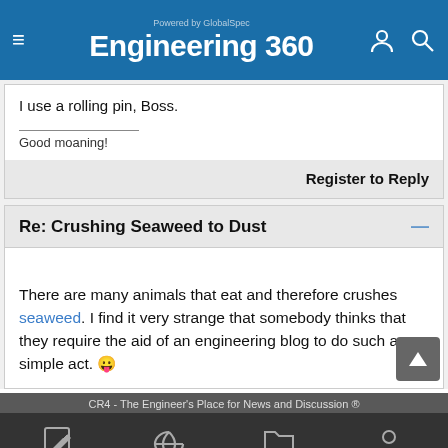Engineering 360 - Powered by GlobalSpec
I use a rolling pin, Boss.
Good moaning!
Register to Reply
Re: Crushing Seaweed to Dust
There are many animals that eat and therefore crushes seaweed. I find it very strange that somebody thinks that they require the aid of an engineering blog to do such a simple act. 😛
CR4 - The Engineer's Place for News and Discussion ®
New Post   CR4 Sections   Directories   CR4 Profile